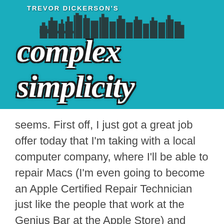[Figure (logo): Trevor Dickerson's Complex Simplicity blog logo with city skyline on teal/turquoise background]
seems. First off, I just got a great job offer today that I'm taking with a local computer company, where I'll be able to repair Macs (I'm even going to become an Apple Certified Repair Technician just like the people that work at the Genius Bar at the Apple Store) and might even get to set my own hours. I tentatively start the second week of March. I'll say more about what company it is and everything once all the details are hammered out.